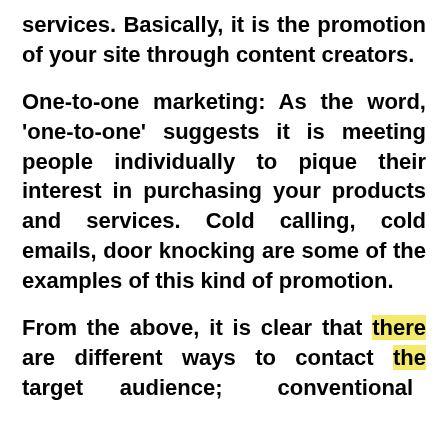services. Basically, it is the promotion of your site through content creators.
One-to-one marketing: As the word, 'one-to-one' suggests it is meeting people individually to pique their interest in purchasing your products and services. Cold calling, cold emails, door knocking are some of the examples of this kind of promotion.
From the above, it is clear that there are different ways to contact the target audience; conventional